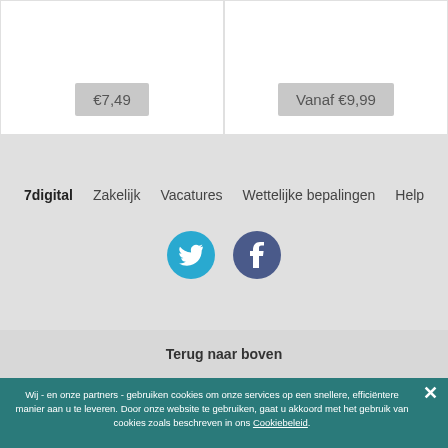€7,49
Vanaf €9,99
7digital   Zakelijk   Vacatures   Wettelijke bepalingen   Help
[Figure (illustration): Twitter and Facebook social media icon circles]
Terug naar boven
Wij - en onze partners - gebruiken cookies om onze services op een snellere, efficiëntere manier aan u te leveren. Door onze website te gebruiken, gaat u akkoord met het gebruik van cookies zoals beschreven in ons Cookiebeleid.